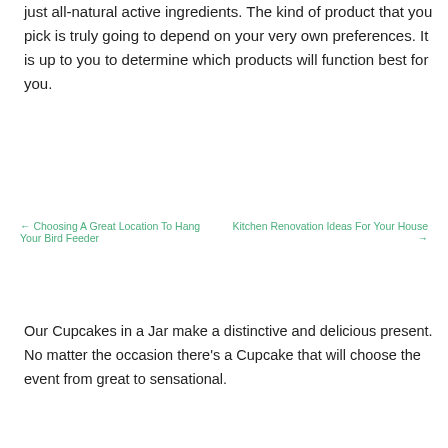just all-natural active ingredients. The kind of product that you pick is truly going to depend on your very own preferences. It is up to you to determine which products will function best for you.
← Choosing A Great Location To Hang Your Bird Feeder
Kitchen Renovation Ideas For Your House →
Our Cupcakes in a Jar make a distinctive and delicious present. No matter the occasion there's a Cupcake that will choose the event from great to sensational.